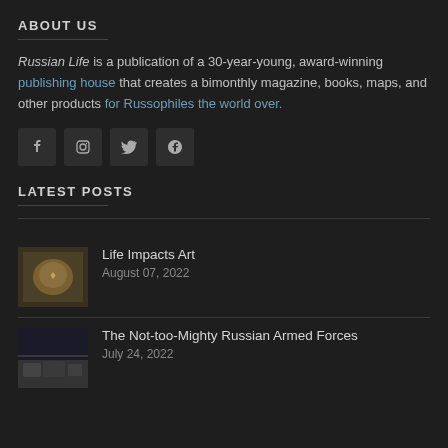ABOUT US
Russian Life is a publication of a 30-year-young, award-winning publishing house that creates a bimonthly magazine, books, maps, and other products for Russophiles the world over.
[Figure (other): Social media icons: Facebook, Instagram, Twitter, Google+]
LATEST POSTS
[Figure (photo): Thumbnail image for Life Impacts Art post - appears to show a golden/bronze art piece]
Life Impacts Art
August 07, 2022
[Figure (photo): Thumbnail image for The Not-too-Mighty Russian Armed Forces - appears to show military vehicles on a street]
The Not-too-Mighty Russian Armed Forces
July 24, 2022